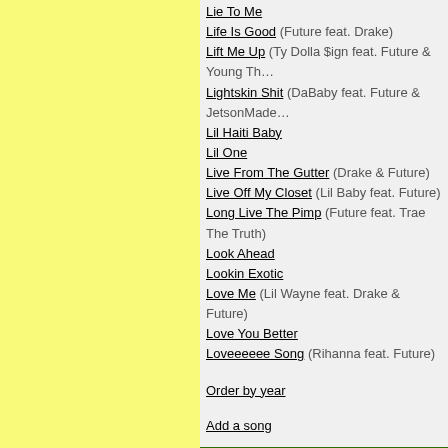Lie To Me
Life Is Good (Future feat. Drake)
Lift Me Up (Ty Dolla $ign feat. Future & Young Th…)
Lightskin Shit (DaBaby feat. Future & JetsonMade)
Lil Haiti Baby
Lil One
Live From The Gutter (Drake & Future)
Live Off My Closet (Lil Baby feat. Future)
Long Live The Pimp (Future feat. Trae The Truth)
Look Ahead
Lookin Exotic
Love Me (Lil Wayne feat. Drake & Future)
Love You Better
Loveeeeee Song (Rihanna feat. Future)
Order by year
Add a song
ALBUMS BY FUTURE
Beast Mode (Future / Zaytoven)
Beastmode 2
DS2
Evol
Future
Future Hndrxx Presents: The Wizrd
High Off Life
Hndrxx
Honest
I Never Liked You
Add an album
REVIEWS
Average points: 2.56 (Reviews: 9)